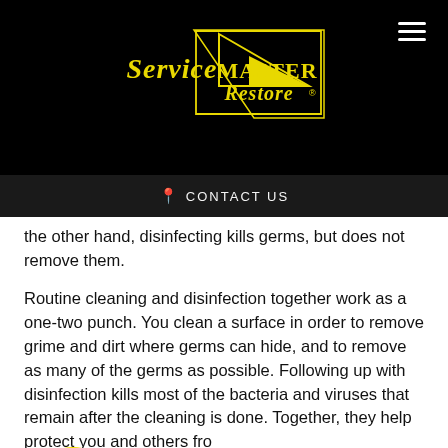[Figure (logo): ServiceMASTER Restore logo in yellow on black background]
CONTACT US
the other hand, disinfecting kills germs, but does not remove them.
Routine cleaning and disinfection together work as a one-two punch. You clean a surface in order to remove grime and dirt where germs can hide, and to remove as many of the germs as possible. Following up with disinfection kills most of the bacteria and viruses that remain after the cleaning is done. Together, they help protect you and others from...comprehensive, quick-fix application that kills
Contact